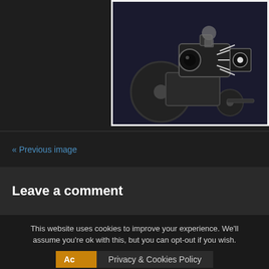[Figure (illustration): 3D rendered illustration of a movie camera on a wheelchair-like wheeled apparatus, dark background with white/silver tones]
« Previous image
Leave a comment
This website uses cookies to improve your experience. We'll assume you're ok with this, but you can opt-out if you wish.
Ac   Privacy & Cookies Policy